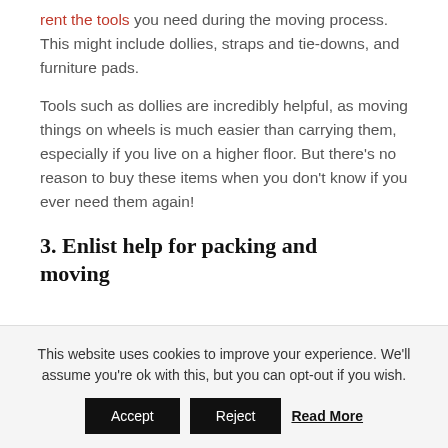rent the tools you need during the moving process. This might include dollies, straps and tie-downs, and furniture pads.
Tools such as dollies are incredibly helpful, as moving things on wheels is much easier than carrying them, especially if you live on a higher floor. But there's no reason to buy these items when you don't know if you ever need them again!
3. Enlist help for packing and moving
This website uses cookies to improve your experience. We'll assume you're ok with this, but you can opt-out if you wish.